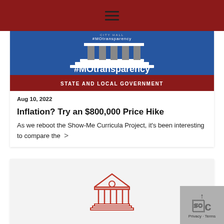☰ (hamburger menu)
[Figure (illustration): City Hall building graphic with #MOtransparency text and 'STATE AND LOCAL GOVERNMENT' banner on dark blue and dark red background]
Aug 10, 2022
Inflation? Try an $800,000 Price Hike
As we reboot the Show-Me Curricula Project, it's been interesting to compare the >
[Figure (illustration): Red outline illustration of a government/courthouse building with columns and a dome/circle detail, on a light gray background]